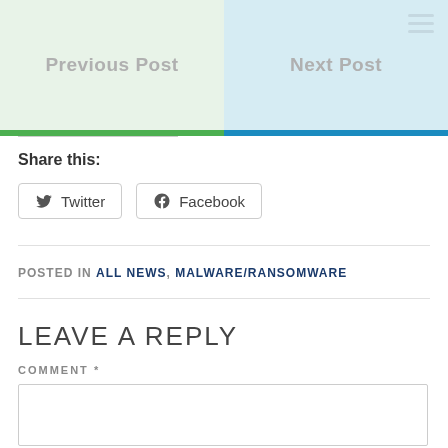[Figure (screenshot): Navigation bar with Previous Post (green background) and Next Post (blue background) buttons, with hamburger menu icon]
Share this:
[Figure (screenshot): Twitter and Facebook social share buttons]
POSTED IN ALL NEWS, MALWARE/RANSOMWARE
LEAVE A REPLY
COMMENT *